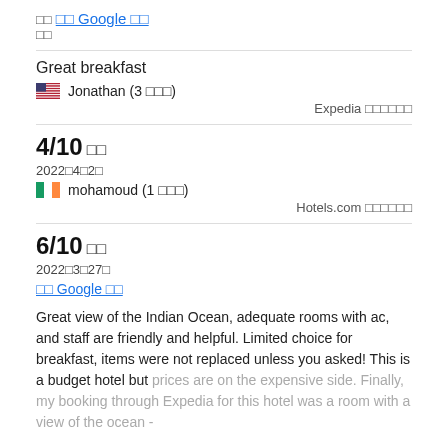□□ Google □□
□□
Great breakfast
Jonathan (3 □□□)
Expedia □□□□□□
4/10 □□
2022□4□2□
mohamoud (1 □□□)
Hotels.com □□□□□□
6/10 □□
2022□3□27□
□□ Google □□
Great view of the Indian Ocean, adequate rooms with ac, and staff are friendly and helpful. Limited choice for breakfast, items were not replaced unless you asked! This is a budget hotel but prices are on the expensive side. Finally, my booking through Expedia for this hotel was a room with a view of the ocean -